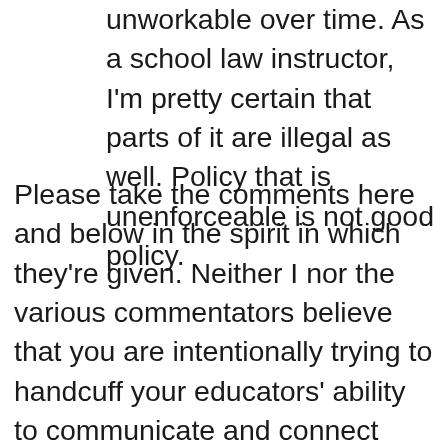unworkable over time. As a school law instructor, I'm pretty certain that parts of it are illegal as well. Policy that is unenforceable is not good policy.
Please take the comments here and below in the spirit in which they're given. Neither I nor the various commentators believe that you are intentionally trying to handcuff your educators' ability to communicate and connect with students and families. As individuals and institutions, we are ALL learners in these new, complex information spaces. We are ALL struggling with how best to